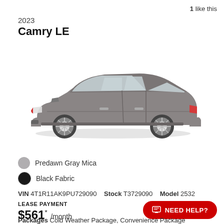1 like this
2023
Camry LE
[Figure (photo): Side profile photo of a 2023 Toyota Camry LE in Predawn Gray Mica color]
Predawn Gray Mica
Black Fabric
VIN 4T1R11AK9PU729090   Stock T3729090   Model 2532
LEASE PAYMENT
$561* /month
Packages Cold Weather Package, Convenience Package